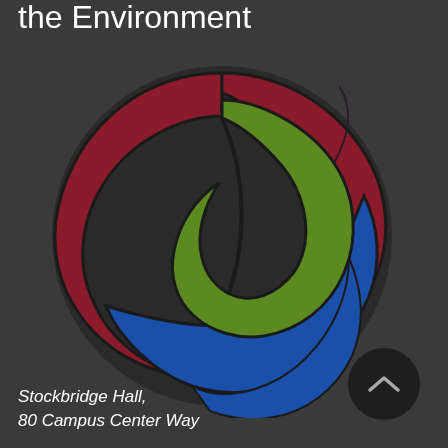the Environment
[Figure (logo): Circular logo with a green leaf shape in the upper portion, a dark red/crimson curved swoosh wrapping around the left and right sides, and a blue curved swoosh at the bottom, all on a dark charcoal background. The logo represents an environmental organization.]
Stockbridge Hall,
80 Campus Center Way